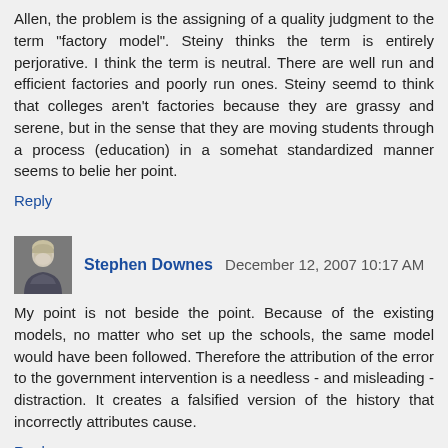Allen, the problem is the assigning of a quality judgment to the term "factory model". Steiny thinks the term is entirely perjorative. I think the term is neutral. There are well run and efficient factories and poorly run ones. Steiny seemd to think that colleges aren't factories because they are grassy and serene, but in the sense that they are moving students through a process (education) in a somehat standardized manner seems to belie her point.
Reply
Stephen Downes   December 12, 2007 10:17 AM
My point is not beside the point. Because of the existing models, no matter who set up the schools, the same model would have been followed. Therefore the attribution of the error to the government intervention is a needless - and misleading - distraction. It creates a falsified version of the history that incorrectly attributes cause.
Reply